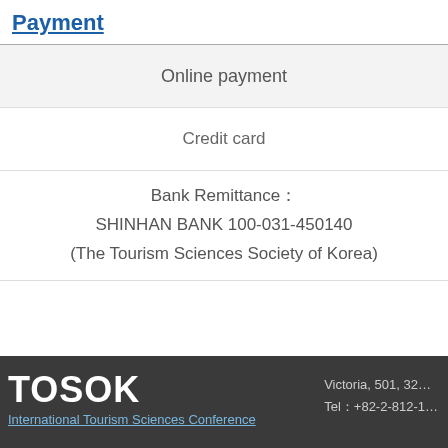Payment
| Online payment |
| --- |
| Credit card |
| Bank Remittance：
SHINHAN BANK 100-031-450140
(The Tourism Sciences Society of Korea) |
TOSOK   Victoria, 501, 32…   Tel：+82-2-812-1…   International Tourism Sciences Conference